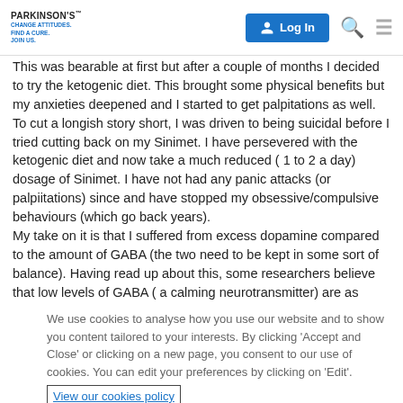PARKINSON'S™ CHANGE ATTITUDES. FIND A CURE. JOIN US. | Log In
This was bearable at first but after a couple of months I decided to try the ketogenic diet. This brought some physical benefits but my anxieties deepened and I started to get palpitations as well. To cut a longish story short, I was driven to being suicidal before I tried cutting back on my Sinimet. I have persevered with the ketogenic diet and now take a much reduced ( 1 to 2 a day) dosage of Sinimet. I have not had any panic attacks (or palpiitations) since and have stopped my obsessive/compulsive behaviours (which go back years).
My take on it is that I suffered from excess dopamine compared to the amount of GABA (the two need to be kept in some sort of balance). Having read up about this, some researchers believe that low levels of GABA ( a calming neurotransmitter) are as
We use cookies to analyse how you use our website and to show you content tailored to your interests. By clicking 'Accept and Close' or clicking on a new page, you consent to our use of cookies. You can edit your preferences by clicking on 'Edit'.
View our cookies policy